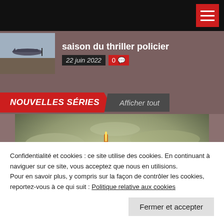saison du thriller policier
22 juin 2022  0
NOUVELLES SÉRIES  Afficher tout
[Figure (illustration): Fantasy warrior in silver/gold armor holding a glowing spear, with wings and a spiked helmet, against a moody sky background]
Confidentialité et cookies : ce site utilise des cookies. En continuant à naviguer sur ce site, vous acceptez que nous en utilisions. Pour en savoir plus, y compris sur la façon de contrôler les cookies, reportez-vous à ce qui suit : Politique relative aux cookies
Fermer et accepter